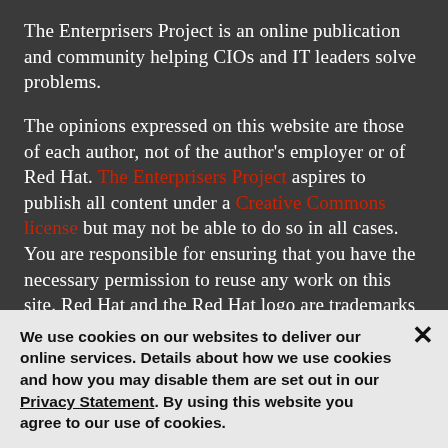The Enterprisers Project is an online publication and community helping CIOs and IT leaders solve problems.
The opinions expressed on this website are those of each author, not of the author's employer or of Red Hat. The Enterprisers Project aspires to publish all content under a Creative Commons license but may not be able to do so in all cases. You are responsible for ensuring that you have the necessary permission to reuse any work on this site. Red Hat and the Red Hat logo are trademarks of Red Hat, Inc., registered in the United States and other countries.
We use cookies on our websites to deliver our online services. Details about how we use cookies and how you may disable them are set out in our Privacy Statement. By using this website you agree to our use of cookies.